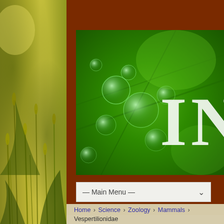[Figure (screenshot): Website header with green leaf/water-droplet banner image showing partial text 'INN', brown background, main menu dropdown bar, and wheat field background on left side.]
Home › Science › Zoology › Mammals › Vespertilionidae
Vespertilionidae
[Figure (infographic): Social share buttons: Facebook (blue f), Twitter (blue bird), Email (grey envelope), Pinterest (red P), More (red plus)]
| Label | Value |
| --- | --- |
| Kingdom: | Animalia |